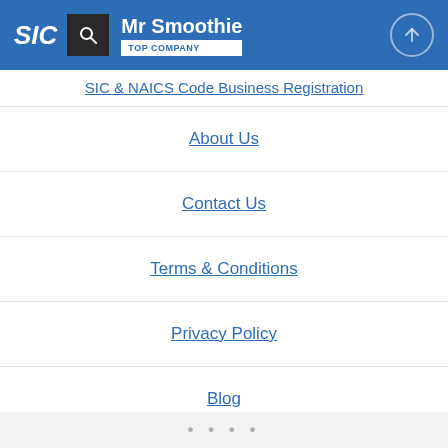SIC | Mr Smoothie | TOP COMPANY
SIC & NAICS Code Business Registration
About Us
Contact Us
Terms & Conditions
Privacy Policy
Blog